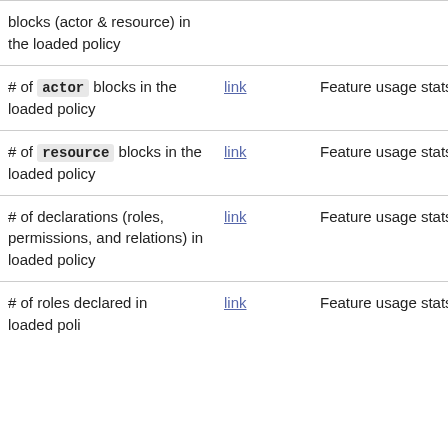| Description | Link | Feature |
| --- | --- | --- |
| blocks (actor & resource) in the loaded policy | link |  |
| # of actor blocks in the loaded policy | link | Feature usage stats. |
| # of resource blocks in the loaded policy | link | Feature usage stats. |
| # of declarations (roles, permissions, and relations) in loaded policy | link | Feature usage stats. |
| # of roles declared in loaded policy | link | Feature usage stats. |